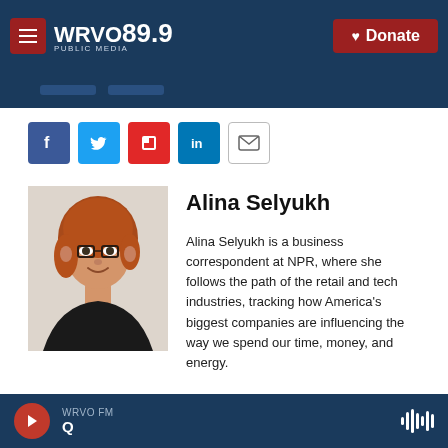WRVO PUBLIC MEDIA 89.9 | Donate
[Figure (illustration): Social media share buttons: Facebook, Twitter, Flipboard, LinkedIn, Email]
[Figure (photo): Headshot photo of Alina Selyukh, a woman with red hair and glasses, smiling, wearing a black top]
Alina Selyukh
Alina Selyukh is a business correspondent at NPR, where she follows the path of the retail and tech industries, tracking how America's biggest companies are influencing the way we spend our time, money, and energy.
See stories by Alina Selyukh
WRVO FM | Q